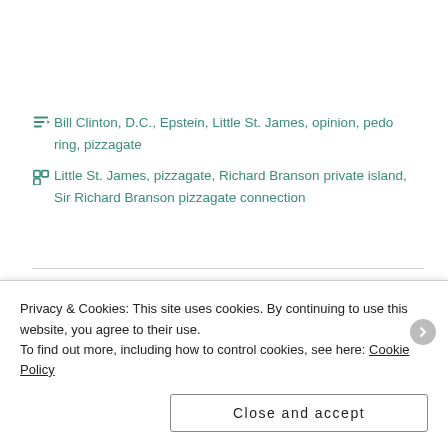Bill Clinton, D.C., Epstein, Little St. James, opinion, pedo ring, pizzagate
Little St. James, pizzagate, Richard Branson private island, Sir Richard Branson pizzagate connection
Pizzagate Decoded – Cathy Fox...
Privacy & Cookies: This site uses cookies. By continuing to use this website, you agree to their use. To find out more, including how to control cookies, see here: Cookie Policy